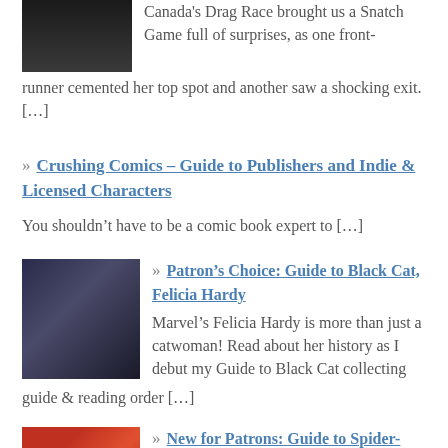Canada's Drag Race brought us a Snatch Game full of surprises, as one front-runner cemented her top spot and another saw a shocking exit. […]
» Crushing Comics – Guide to Publishers and Indie & Licensed Characters
You shouldn't have to be a comic book expert to […]
[Figure (photo): Black Cat / Felicia Hardy comic book illustration showing a woman with white hair in a black costume]
» Patron's Choice: Guide to Black Cat, Felicia Hardy
Marvel's Felicia Hardy is more than just a catwoman! Read about her history as I debut my Guide to Black Cat collecting guide & reading order […]
[Figure (photo): Spider-Man and other Marvel characters comic book illustration]
» New for Patrons: Guide to Spider-Man, Peter Parker (2018-Present)
As I untangled the Spider-Man